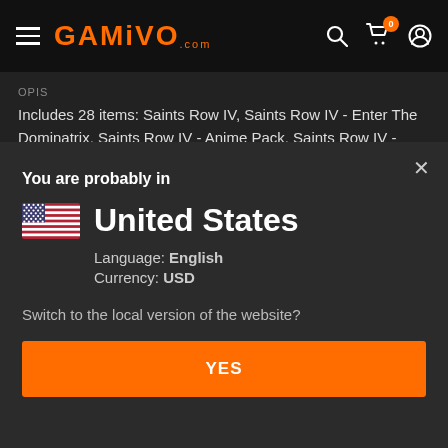GAMIVO.com
OPIS
Includes 28 items: Saints Row IV, Saints Row IV - Enter The Dominatrix, Saints Row IV - Anime Pack, Saints Row IV - Bling Bling Pack, Saints Row IV - College D... Czytaj więcej
You are probably in
United States
Language: English
Currency: USD
Switch to the local version of the website?
YES